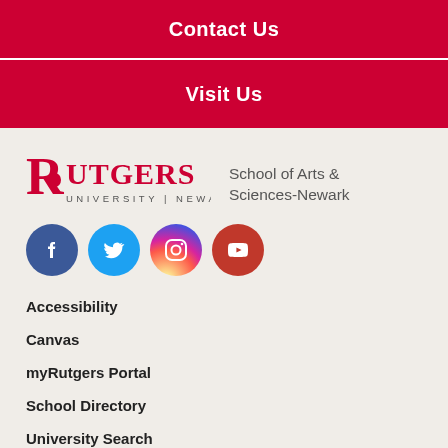Contact Us
Visit Us
[Figure (logo): Rutgers University Newark logo in red with text RUTGERS UNIVERSITY | NEWARK]
School of Arts & Sciences-Newark
[Figure (infographic): Social media icons: Facebook (blue circle), Twitter (light blue circle), Instagram (gradient circle), YouTube (red circle)]
Accessibility
Canvas
myRutgers Portal
School Directory
University Search
MyRun/One Stop Shop